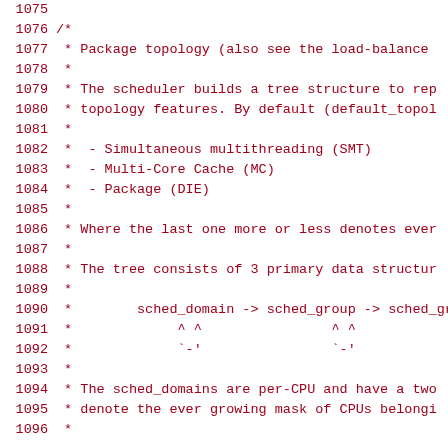Source code listing lines 1075-1096, showing C comment block about package topology and scheduler tree structure with sched_domain, sched_group structures